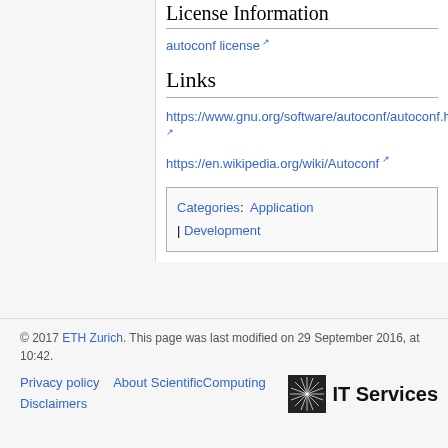License Information
autoconf license
Links
https://www.gnu.org/software/autoconf/autoconf.html
https://en.wikipedia.org/wiki/Autoconf
Categories: Application | Development
© 2017 ETH Zurich. This page was last modified on 29 September 2016, at 10:42.
Privacy policy   About ScientificComputing   Disclaimers